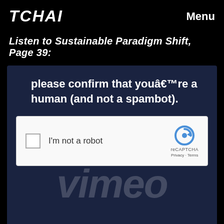TCHAI    Menu
Listen to Sustainable Paradigm Shift, Page 39:
[Figure (screenshot): Screenshot of a dark navy webpage showing a reCAPTCHA widget. Text reads 'please confirm that youâ€™re a human (and not a spambot).' with a reCAPTCHA checkbox labeled 'I'm not a robot', the reCAPTCHA logo, 'reCAPTCHA', 'Privacy · Terms', and a partially visible Vimeo logo in the background.]
These are an articles from TCHI Magazine ‘Number Five’